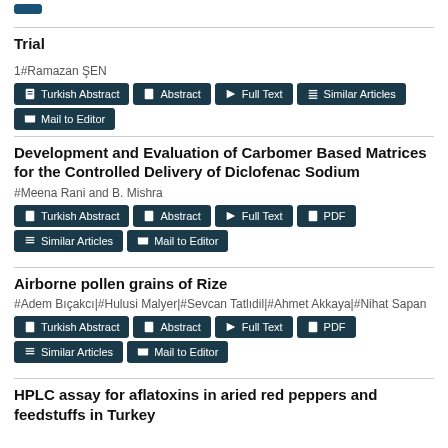Trial
1#Ramazan ŞEN
Turkish Abstract | Abstract | Full Text | Similar Articles | Mail to Editor
Development and Evaluation of Carbomer Based Matrices for the Controlled Delivery of Diclofenac Sodium
#Meena Rani and B. Mishra
Turkish Abstract | Abstract | Full Text | PDF | Similar Articles | Mail to Editor
Airborne pollen grains of Rize
#Adem Bıçakcı|#Hulusi Malyer|#Sevcan Tatlıdil|#Ahmet Akkaya|#Nihat Sapan
Turkish Abstract | Abstract | Full Text | PDF | Similar Articles | Mail to Editor
HPLC assay for aflatoxins in aried red peppers and feedstuffs in Turkey